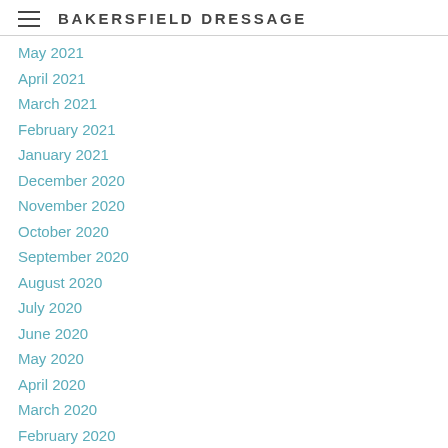BAKERSFIELD DRESSAGE
May 2021
April 2021
March 2021
February 2021
January 2021
December 2020
November 2020
October 2020
September 2020
August 2020
July 2020
June 2020
May 2020
April 2020
March 2020
February 2020
January 2020
December 2019